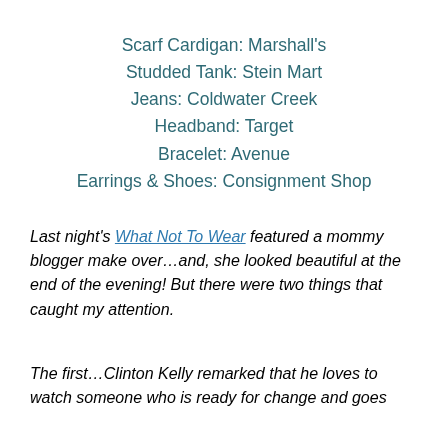Scarf Cardigan: Marshall's
Studded Tank: Stein Mart
Jeans: Coldwater Creek
Headband: Target
Bracelet: Avenue
Earrings & Shoes: Consignment Shop
Last night's What Not To Wear featured a mommy blogger make over…and, she looked beautiful at the end of the evening! But there were two things that caught my attention.
The first…Clinton Kelly remarked that he loves to watch someone who is ready for change and goes